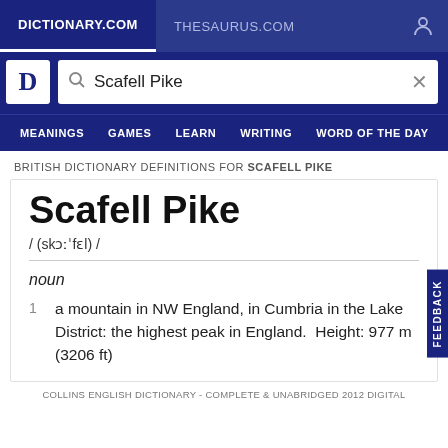DICTIONARY.COM | THESAURUS.COM
Scafell Pike [search box]
MEANINGS  GAMES  LEARN  WRITING  WORD OF THE DAY
BRITISH DICTIONARY DEFINITIONS FOR SCAFELL PIKE
Scafell Pike
/ (skɔːˈfɛl) /
noun
1 a mountain in NW England, in Cumbria in the Lake District: the highest peak in England. Height: 977 m (3206 ft)
COLLINS ENGLISH DICTIONARY - COMPLETE & UNABRIDGED 2012 DIGITAL